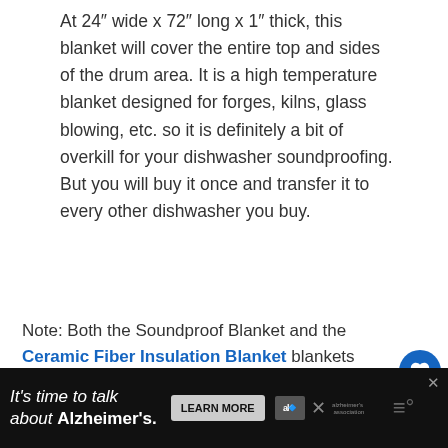At 24" wide x 72" long x 1" thick, this blanket will cover the entire top and sides of the drum area. It is a high temperature blanket designed for forges, kilns, glass blowing, etc. so it is definitely a bit of overkill for your dishwasher soundproofing. But you will buy it once and transfer it to every other dishwasher you buy.
Note: Both the Soundproof Blanket and the Ceramic Fiber Insulation Blanket blankets are thicker, heavier, and more efficient than the factory product.
[Figure (other): Bottom portion of a product image (dark colored appliance)]
[Figure (infographic): Advertisement banner: It's time to talk about Alzheimer's. Learn More button. Alzheimer's Association logo. Close button.]